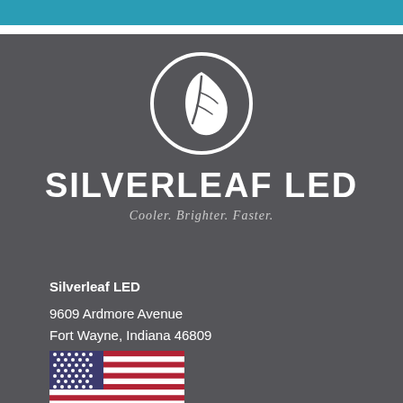[Figure (logo): Silverleaf LED logo: a white circle containing a white leaf silhouette, above the text SILVERLEAF LED in white bold uppercase, with tagline 'Cooler. Brighter. Faster.' in gray italic below]
Silverleaf LED
9609 Ardmore Avenue
Fort Wayne, Indiana 46809
[Figure (illustration): United States flag (stars and stripes)]